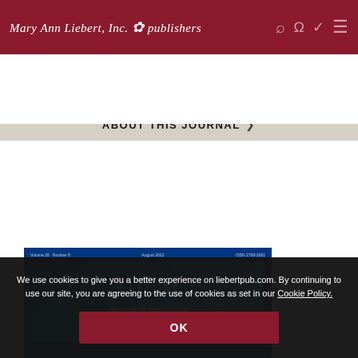Mary Ann Liebert, Inc. publishers
ABOUT THIS JOURNAL
[Figure (screenshot): Journal cover of JICM - Journal of Integrative and Complementary Medicine, Volume 28, Number 8, August 2022, ISSN 2768-3661, with blue gradient background and white text]
We use cookies to give you a better experience on liebertpub.com. By continuing to use our site, you are agreeing to the use of cookies as set in our Cookie Policy.
OK